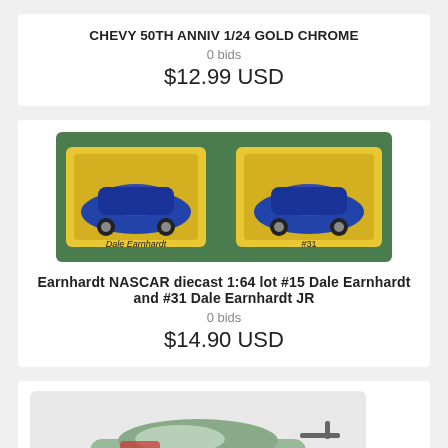CHEVY 50TH ANNIV 1/24 GOLD CHROME
0 bids
$12.99 USD
[Figure (photo): Two yellow NASCAR diecast cars in packaging on green background]
Earnhardt NASCAR diecast 1:64 lot #15 Dale Earnhardt and #31 Dale Earnhardt JR
0 bids
$14.90 USD
[Figure (photo): NASCAR diecast car #88 with green/white livery on white background]